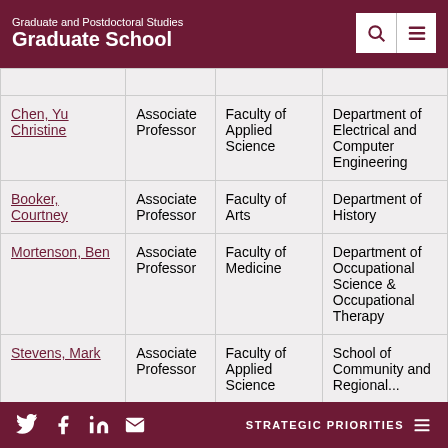Graduate and Postdoctoral Studies
Graduate School
| Name | Rank | Faculty | Department |
| --- | --- | --- | --- |
| Chen, Yu Christine | Associate Professor | Faculty of Applied Science | Department of Electrical and Computer Engineering |
| Booker, Courtney | Associate Professor | Faculty of Arts | Department of History |
| Mortenson, Ben | Associate Professor | Faculty of Medicine | Department of Occupational Science & Occupational Therapy |
| Stevens, Mark | Associate Professor | Faculty of Applied Science | School of Community and Regional... |
STRATEGIC PRIORITIES